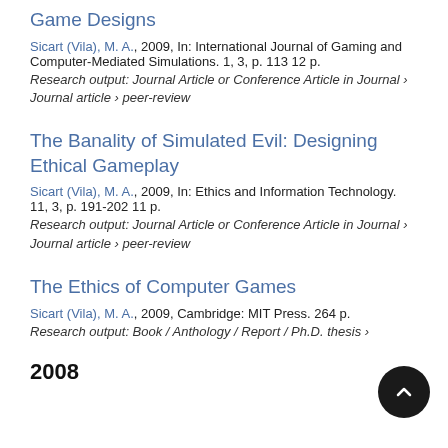Game Designs
Sicart (Vila), M. A., 2009, In: International Journal of Gaming and Computer-Mediated Simulations. 1, 3, p. 113 12 p.
Research output: Journal Article or Conference Article in Journal › Journal article › peer-review
The Banality of Simulated Evil: Designing Ethical Gameplay
Sicart (Vila), M. A., 2009, In: Ethics and Information Technology. 11, 3, p. 191-202 11 p.
Research output: Journal Article or Conference Article in Journal › Journal article › peer-review
The Ethics of Computer Games
Sicart (Vila), M. A., 2009, Cambridge: MIT Press. 264 p.
Research output: Book / Anthology / Report / Ph.D. thesis ›
2008